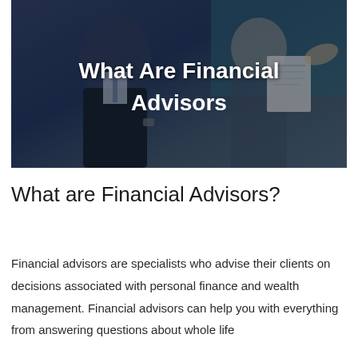[Figure (photo): Photo of two people (financial advisors or clients) in a meeting, overlaid with bold white text reading 'What Are Financial Advisors'. Dark-tinted background with people in business attire.]
What are Financial Advisors?
Financial advisors are specialists who advise their clients on decisions associated with personal finance and wealth management. Financial advisors can help you with everything from answering questions about whole life